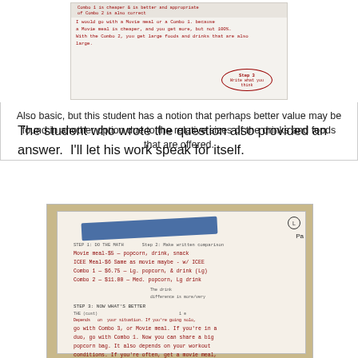[Figure (photo): Photo of student handwritten work on whiteboard showing reasoning about Movie Meal vs Combo options, with Step 3 annotation 'Write what you think']
Also basic, but this student has a notion that perhaps better value may be found in another option due to the relative sizes of the drinks and foods that are offered.
The student who wrote the question also provided an answer.  I'll let his work speak for itself.
[Figure (photo): Photo of student handwritten paper work listing Movie meal-$5 popcorn drink snack, ICEE Meal-$6, Combo 1-$6.75 Lg popcorn & drink (Lg), Combo 2-$11.00 Med popcorn Lg drink. Step 3: Now what's better. The student's written reasoning about which combo is best depending on situation.]